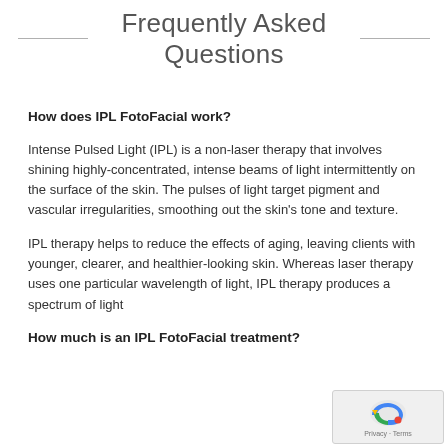Frequently Asked Questions
How does IPL FotoFacial work?
Intense Pulsed Light (IPL) is a non-laser therapy that involves shining highly-concentrated, intense beams of light intermittently on the surface of the skin. The pulses of light target pigment and vascular irregularities, smoothing out the skin's tone and texture.
IPL therapy helps to reduce the effects of aging, leaving clients with younger, clearer, and healthier-looking skin. Whereas laser therapy uses one particular wavelength of light, IPL therapy produces a spectrum of light
How much is an IPL FotoFacial treatment?